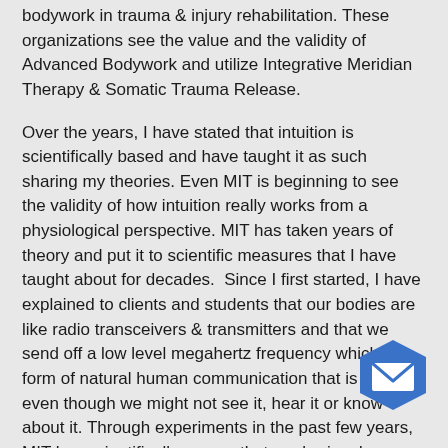bodywork in trauma & injury rehabilitation.  These organizations see the value and the validity of Advanced Bodywork and utilize Integrative Meridian Therapy & Somatic Trauma Release.
Over the years, I have stated that intuition is scientifically based and have taught it as such sharing my theories.  Even MIT is beginning to see the validity of how intuition really works from a physiological perspective.  MIT has taken years of theory and put it to scientific measures that I have taught about for decades.  Since I first started, I have explained to clients and students that our bodies are like radio transceivers & transmitters and that we send off a low level megahertz frequency which is a form of natural human communication that is present even though we might not see it, hear it or know about it.  Through experiments in the past few years, MIT has scientifically proven that our brains do transmit between 2-5 megahertz and it is transmitted without verbalization.  Soon, I'm hoping they will be able to research the other end of that communication relationship and see that our central nervous system can also receive these